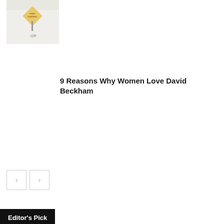[Figure (photo): Photo showing a pest control warning sign with a small object on a surface, light background]
9 Reasons Why Women Love David Beckham
[Figure (other): Navigation previous and next arrow buttons]
Editor's Pick